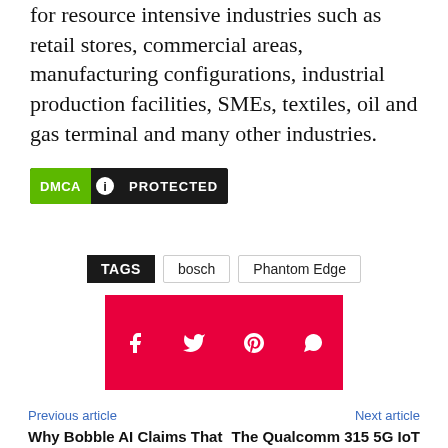for resource intensive industries such as retail stores, commercial areas, manufacturing configurations, industrial production facilities, SMEs, textiles, oil and gas terminal and many other industries.
[Figure (logo): DMCA Protected badge with green DMCA label, lock icon, and dark background PROTECTED text]
TAGS  bosch  Phantom Edge
[Figure (infographic): Red social sharing bar with Facebook, Twitter, Pinterest, and WhatsApp icons in white]
Previous article
Why Bobble AI Claims That Online Chatting Is The Most Preferred Of Communication
Next article
The Qualcomm 315 5G IoT is poised to propel and grow the 5G IoT Industry